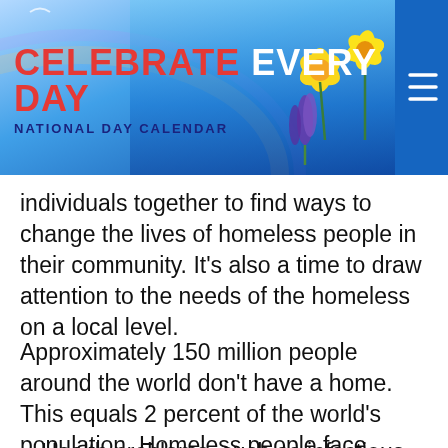[Figure (other): Celebrate Every Day National Day Calendar banner with flowers and blue sky background, with hamburger menu icon on right]
individuals together to find ways to change the lives of homeless people in their community. It's also a time to draw attention to the needs of the homeless on a local level.
Approximately 150 million people around the world don't have a home. This equals 2 percent of the world's population. Homeless people face many issues, including:
Health problems, such as infectious diseases,